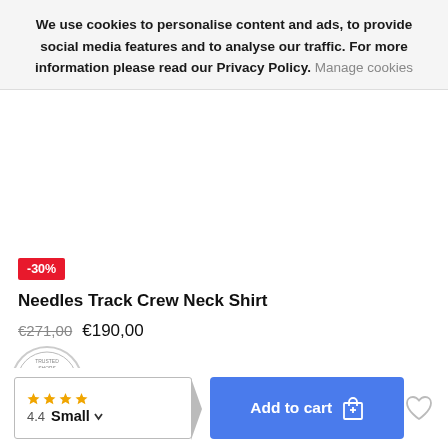We use cookies to personalise content and ads, to provide social media features and to analyse our traffic. For more information please read our Privacy Policy. Manage cookies
[Figure (other): Red discount badge showing -30%]
Needles Track Crew Neck Shirt
€271,00  €190,00
[Figure (logo): Trusted Shops guarantee seal/badge]
4.4  Small ▾  Add to cart
[Figure (other): Heart/wishlist icon]